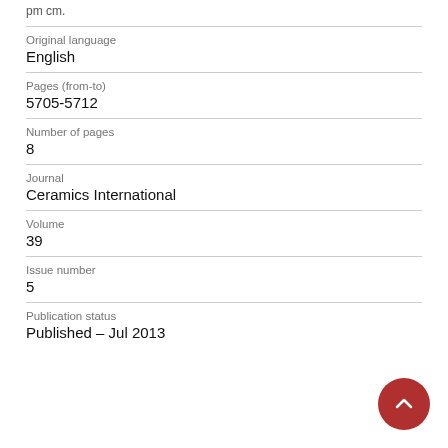pm cm.
Original language
English
Pages (from-to)
5705-5712
Number of pages
8
Journal
Ceramics International
Volume
39
Issue number
5
Publication status
Published - Jul 2013